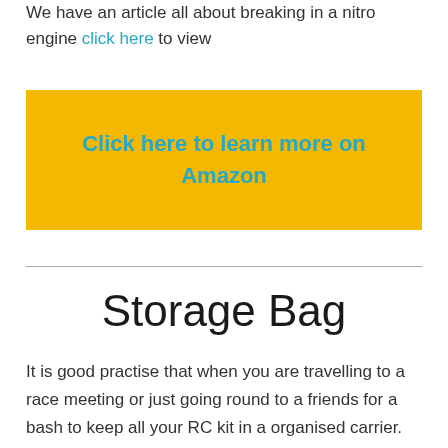We have an article all about breaking in a nitro engine click here to view
[Figure (other): Yellow rectangular button with teal bold text reading 'Click here to learn more on Amazon']
Storage Bag
It is good practise that when you are travelling to a race meeting or just going round to a friends for a bash to keep all your RC kit in a organised carrier.